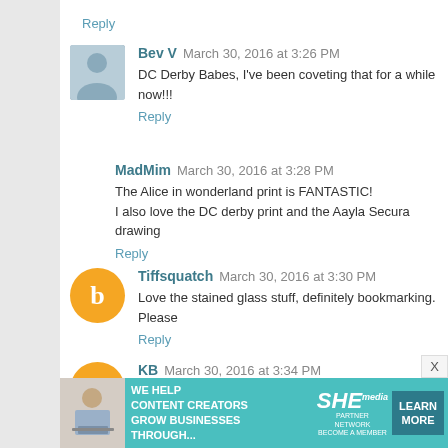Reply
Bev V  March 30, 2016 at 3:26 PM
DC Derby Babes, I've been coveting that for a while now!!!
Reply
MadMim  March 30, 2016 at 3:28 PM
The Alice in wonderland print is FANTASTIC!
I also love the DC derby print and the Aayla Secura drawing
Reply
Tiffsquatch  March 30, 2016 at 3:30 PM
Love the stained glass stuff, definitely bookmarking. Please
Reply
KB  March 30, 2016 at 3:34 PM
I would love to be entered for the DC babes art! I...
[Figure (other): Advertisement banner for SHE Partner Network: 'We help content creators grow businesses through...' with Learn More button]